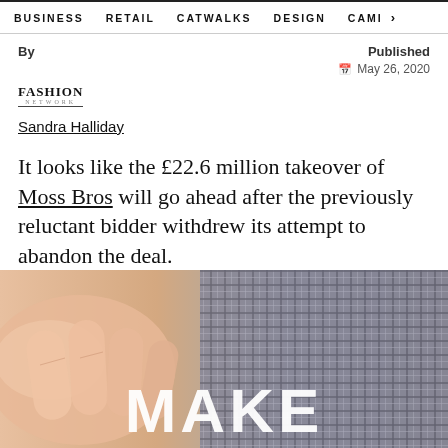BUSINESS   RETAIL   CATWALKS   DESIGN   CAMI >
By
Published
May 26, 2020
[Figure (logo): FASHION NETWORK logo with underline]
Sandra Halliday
It looks like the £22.6 million takeover of Moss Bros will go ahead after the previously reluctant bidder withdrew its attempt to abandon the deal.
[Figure (photo): Close-up of fingers touching a plaid/checked fabric, with bold white text 'MAKE' overlaid at the bottom]